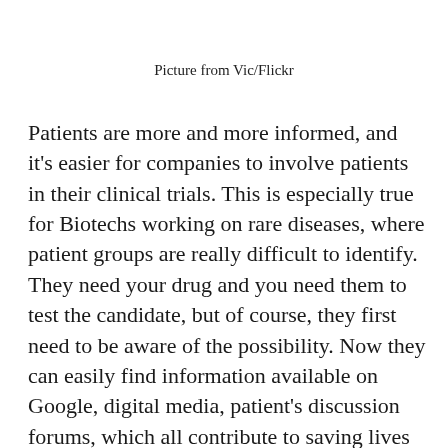Picture from Vic/Flickr
Patients are more and more informed, and it's easier for companies to involve patients in their clinical trials. This is especially true for Biotechs working on rare diseases, where patient groups are really difficult to identify. They need your drug and you need them to test the candidate, but of course, they first need to be aware of the possibility. Now they can easily find information available on Google, digital media, patient's discussion forums, which all contribute to saving lives at the end of the day.